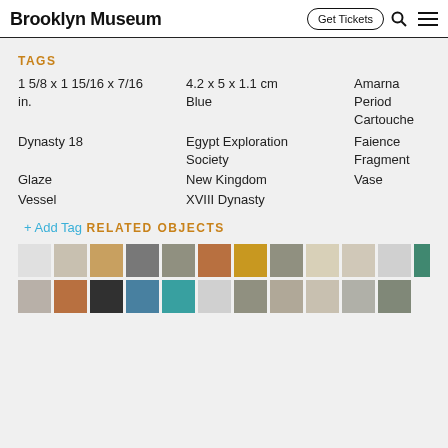Brooklyn Museum  Get Tickets
TAGS
1 5/8 x 1 15/16 x 7/16 in.
4.2 x 5 x 1.1 cm
Amarna Period
Blue
Cartouche
Dynasty 18
Egypt Exploration Society
Faience
Fragment
Glaze
New Kingdom
Vase
Vessel
XVIII Dynasty
+ Add Tag
RELATED OBJECTS
[Figure (photo): Grid of thumbnail images of related museum objects]